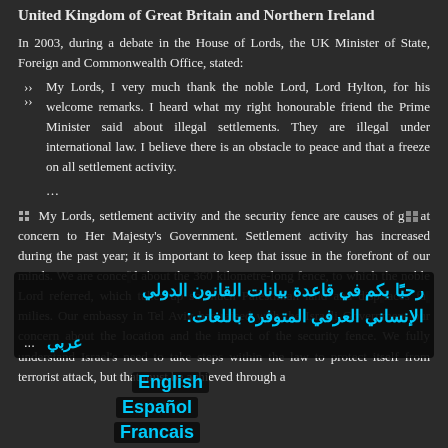United Kingdom of Great Britain and Northern Ireland
In 2003, during a debate in the House of Lords, the UK Minister of State, Foreign and Commonwealth Office, stated:
My Lords, I very much thank the noble Lord, Lord Hylton, for his welcome remarks. I heard what my right honourable friend the Prime Minister said about illegal settlements. They are illegal under international law. I believe there is an obstacle to peace and that a freeze on all settlement activity.
[Figure (screenshot): UI overlay showing Arabic text: رحبًا بكم في قاعدة بيانات القانون الدولي الإنساني العرفي المتوفرة باللغات with language links: عربي, English, Español, Francais]
My Lords, settlement activity and the security fence are causes of great concern to Her Majesty's Government. Settlement activity has increased during the past year; it is important to keep that issue in the forefront of our minds. We are concerned about the 360 kilometre-long fence, to which the noble Lord referred, which takes up so much Palestinian land and displaces families. Our embassy in Tel Aviv has raised with the Israeli Government our concern about the location and the impact of the security fence. We fully understand Israel's need to take steps within the law to protect itself from terrorist attack, but that must be achieved through a